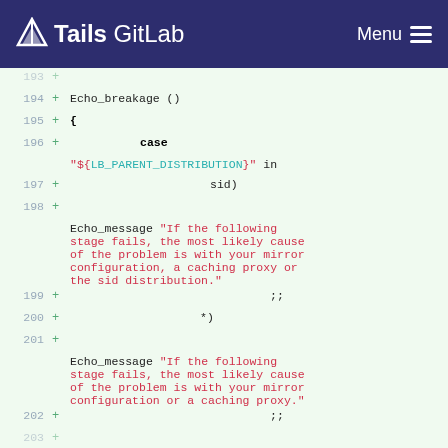Tails GitLab  Menu
[Figure (screenshot): Git diff view of a shell script showing added lines 193-202 with code including Echo_breakage function, case statement with LB_PARENT_DISTRIBUTION variable, and Echo_message strings about mirror configuration and caching proxy errors.]